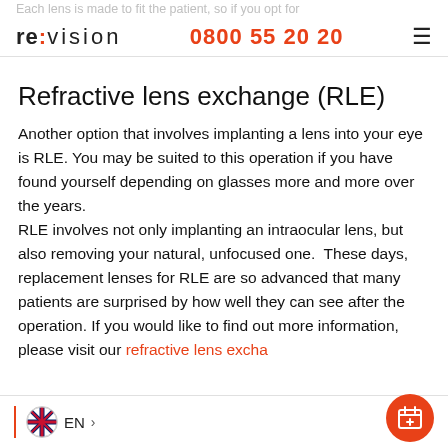Each lens is made to fit the patient, so if you opt for
re:vision  0800 55 20 20
Refractive lens exchange (RLE)
Another option that involves implanting a lens into your eye is RLE. You may be suited to this operation if you have found yourself depending on glasses more and more over the years. RLE involves not only implanting an intraocular lens, but also removing your natural, unfocused one.  These days, replacement lenses for RLE are so advanced that many patients are surprised by how well they can see after the operation. If you would like to find out more information, please visit our refractive lens excha…
EN >